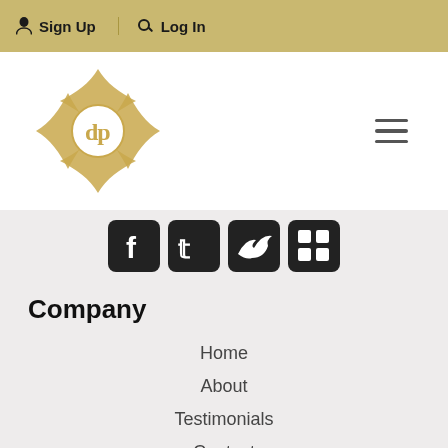Sign Up  Log In
[Figure (logo): DP real estate logo: ornate gold compass/diamond shape with 'dp' monogram in center]
[Figure (infographic): Four social media icon buttons (Facebook, Twitter/X, bird, grid/app icon) in dark rounded square style]
Company
Home
About
Testimonials
Contact
Explore
Property Search